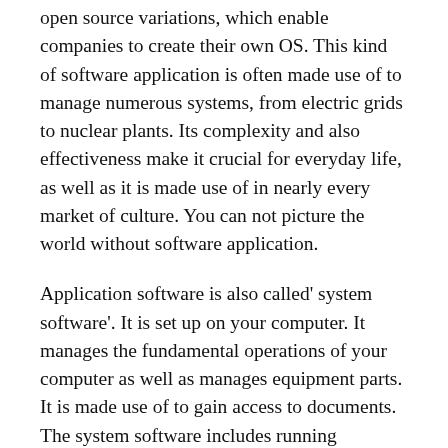open source variations, which enable companies to create their own OS. This kind of software application is often made use of to manage numerous systems, from electric grids to nuclear plants. Its complexity and also effectiveness make it crucial for everyday life, as well as it is made use of in nearly every market of culture. You can not picture the world without software application.
Application software is also called' system software'. It is set up on your computer. It manages the fundamental operations of your computer as well as manages equipment parts. It is made use of to gain access to documents. The system software includes running systems, device drivers, and also device drivers. By contrast, application-specific software is specialized to execute a specific task. There are two primary sorts of system software: general as well as specialized. The former is used for basic features of a computer system,